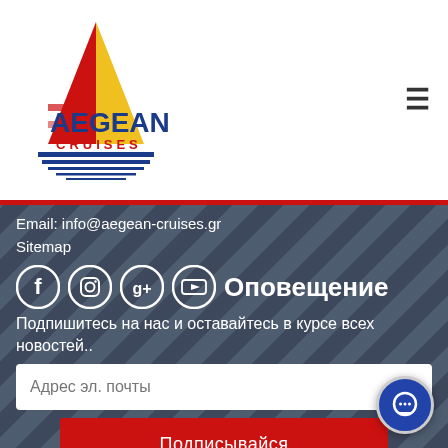[Figure (logo): Aegean Cruises logo — sailboat with red/yellow/blue stripes and text AEGEAN CRUISES]
Email: info@aegean-cruises.gr
Sitemap
[Figure (infographic): Social media icons: Facebook, Instagram, Google+, YouTube]
Оповещение
Подпишитесь на нас и оставайтесь в курсе всех новостей..
Адрес эл. почты
Подписывайся